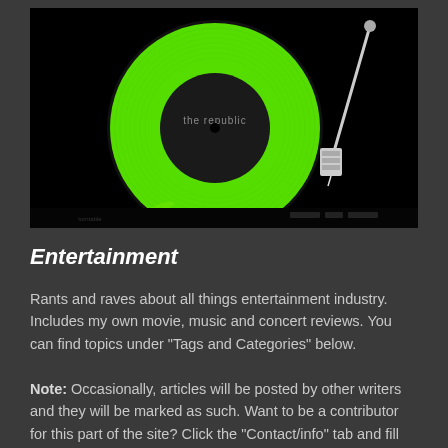[Figure (photo): A green vinyl record on a black turntable with a tonearm. The record label reads 'the republic'. The image has a dark, high-contrast look with the bright green vinyl as the focal point.]
Entertainment
Rants and raves about all things entertainment industry. Includes my own movie, music and concert reviews. You can find topics under "Tags and Categories" below.
Note: Occasionally, articles will be posted by other writers and they will be marked as such. Want to be a contributor for this part of the site? Click the "Contact/info" tab and fill